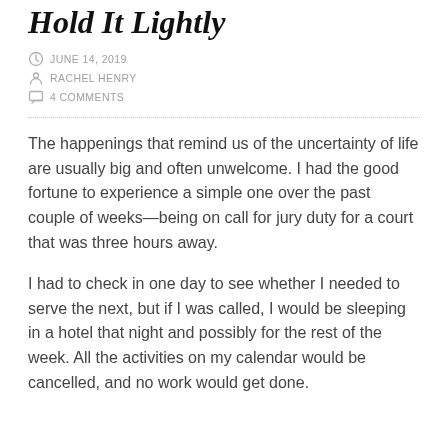Hold It Lightly
JUNE 14, 2019
RACHEL HENRY
4 COMMENTS
The happenings that remind us of the uncertainty of life are usually big and often unwelcome. I had the good fortune to experience a simple one over the past couple of weeks—being on call for jury duty for a court that was three hours away.
I had to check in one day to see whether I needed to serve the next, but if I was called, I would be sleeping in a hotel that night and possibly for the rest of the week. All the activities on my calendar would be cancelled, and no work would get done.